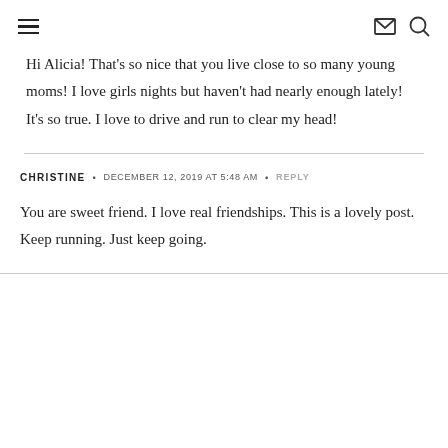≡  ✉ 🔍
Hi Alicia! That's so nice that you live close to so many young moms! I love girls nights but haven't had nearly enough lately! It's so true. I love to drive and run to clear my head!
CHRISTINE • DECEMBER 12, 2019 AT 5:48 AM • REPLY
You are sweet friend. I love real friendships. This is a lovely post. Keep running. Just keep going.